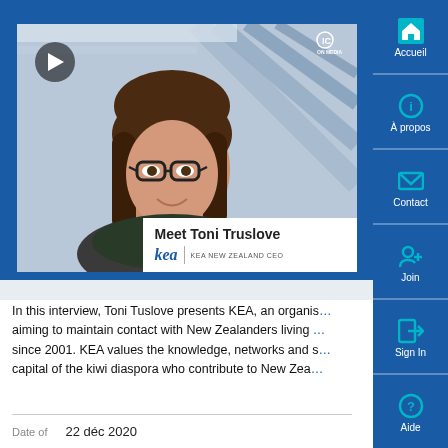[Figure (screenshot): Video thumbnail showing a woman (Toni Truslove) with glasses and long brown hair, with a play button overlay in top left, IC logo in top right, and a name card overlay at bottom right reading 'Meet Toni Truslove' with the kea logo and 'KEA NEW ZEALAND CEO']
In this interview, Toni Tuslove presents KEA, an organisation aiming to maintain contact with New Zealanders living abroad since 2001. KEA values the knowledge, networks and social capital of the kiwi diaspora who contribute to New Zealand.
Date of    22 déc 2020